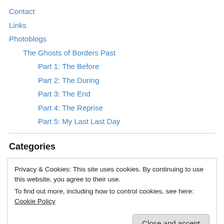Contact
Links
Photoblogs
The Ghosts of Borders Past
Part 1: The Before
Part 2: The During
Part 3: The End
Part 4: The Reprise
Part 5: My Last Last Day
Categories
Privacy & Cookies: This site uses cookies. By continuing to use this website, you agree to their use.
To find out more, including how to control cookies, see here: Cookie Policy
History / Politics (3)